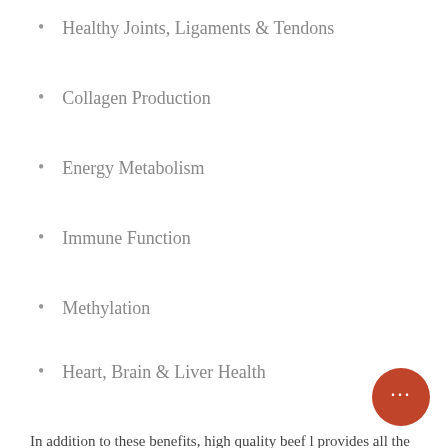Healthy Joints, Ligaments & Tendons
Collagen Production
Energy Metabolism
Immune Function
Methylation
Heart, Brain & Liver Health
In addition to these benefits, high quality beef l provides all the fat soluble vitamins (A, D, K & highly usable forms, and provides meaningful amounts of folic acid, copper, zinc, chromium and hyaluronic